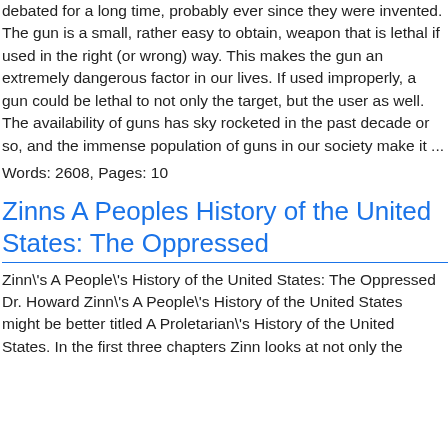debated for a long time, probably ever since they were invented. The gun is a small, rather easy to obtain, weapon that is lethal if used in the right (or wrong) way. This makes the gun an extremely dangerous factor in our lives. If used improperly, a gun could be lethal to not only the target, but the user as well. The availability of guns has sky rocketed in the past decade or so, and the immense population of guns in our society make it ...
Words: 2608, Pages: 10
Zinns A Peoples History of the United States: The Oppressed
Zinn\'s A People\'s History of the United States: The Oppressed Dr. Howard Zinn\'s A People\'s History of the United States might be better titled A Proletarian\'s History of the United States. In the first three chapters Zinn looks at not only the